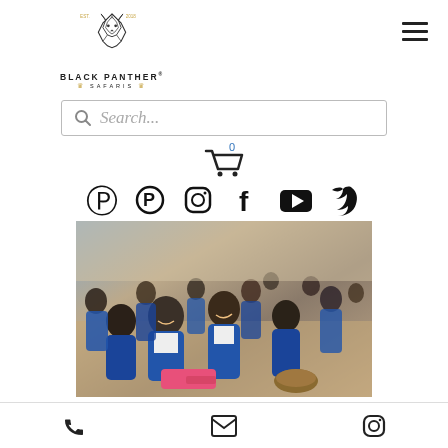[Figure (logo): Black Panther Safaris logo with geometric panther head, 'BLACK PANTHER® SAFARIS' text, crown icons in gold]
[Figure (screenshot): Search bar with magnifying glass icon and italic placeholder text 'Search...']
[Figure (infographic): Shopping cart icon with blue '0' badge]
[Figure (infographic): Social media icons row: Pinterest, Instagram, Facebook, YouTube, Twitter]
[Figure (photo): Group of African schoolchildren in blue and white uniforms sitting in a classroom, smiling at camera, some holding food]
GO ON SAFARI SEND A
[Figure (infographic): Bottom navigation bar with phone, email, and Instagram icons]